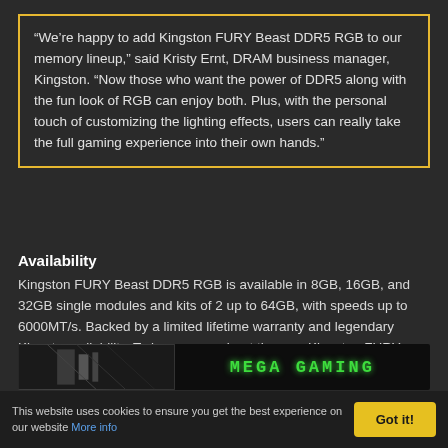“We’re happy to add Kingston FURY Beast DDR5 RGB to our memory lineup,” said Kristy Ernt, DRAM business manager, Kingston. “Now those who want the power of DDR5 along with the fun look of RGB can enjoy both. Plus, with the personal touch of customizing the lighting effects, users can really take the full gaming experience into their own hands.”
Availability
Kingston FURY Beast DDR5 RGB is available in 8GB, 16GB, and 32GB single modules and kits of 2 up to 64GB, with speeds up to 6000MT/s. Backed by a limited lifetime warranty and legendary Kingston reliability. To learn more about the new Kingston FURY Beast DDR5 RGB memory, please visit Kingston.com.
[Figure (photo): Banner image showing a PC gaming setup on the left side and a green-colored 'MEGA GAMING' logo text on the right side on a dark background]
This website uses cookies to ensure you get the best experience on our website More info